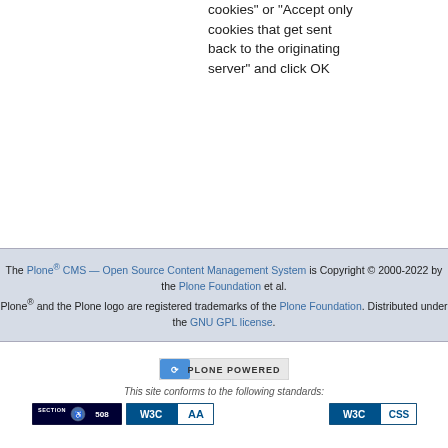cookies" or "Accept only cookies that get sent back to the originating server" and click OK
The Plone® CMS — Open Source Content Management System is Copyright © 2000-2022 by the Plone Foundation et al. Plone® and the Plone logo are registered trademarks of the Plone Foundation. Distributed under the GNU GPL license.
[Figure (logo): Plone Powered logo badge]
This site conforms to the following standards:
[Figure (logo): Section 508 accessibility badge]
[Figure (logo): W3C AA accessibility badge]
[Figure (logo): W3C CSS validation badge]